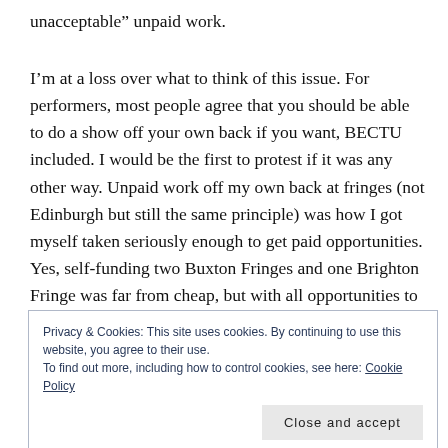unacceptable” unpaid work.
I’m at a loss over what to think of this issue. For performers, most people agree that you should be able to do a show off your own back if you want, BECTU included. I would be the first to protest if it was any other way. Unpaid work off my own back at fringes (not Edinburgh but still the same principle) was how I got myself taken seriously enough to get paid opportunities. Yes, self-funding two Buxton Fringes and one Brighton Fringe was far from cheap, but with all opportunities to
Privacy & Cookies: This site uses cookies. By continuing to use this website, you agree to their use.
To find out more, including how to control cookies, see here: Cookie Policy
Close and accept
reaction I would give if someone told me I shouldn’t have